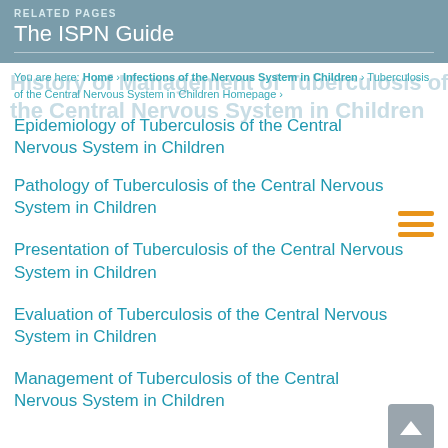RELATED PAGES
The ISPN Guide
You are here: Home > Infections of the Nervous System in Children > Tuberculosis of the Central Nervous System in Children Homepage >
History of Management of Tuberculosis of the Central Nervous System in Children
Epidemiology of Tuberculosis of the Central Nervous System in Children
Pathology of Tuberculosis of the Central Nervous System in Children
Presentation of Tuberculosis of the Central Nervous System in Children
Evaluation of Tuberculosis of the Central Nervous System in Children
Management of Tuberculosis of the Central Nervous System in Children